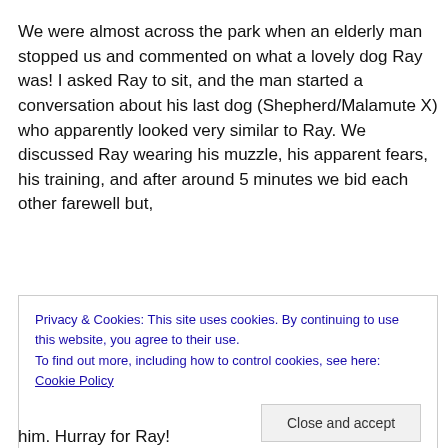We were almost across the park when an elderly man stopped us and commented on what a lovely dog Ray was! I asked Ray to sit, and the man started a conversation about his last dog (Shepherd/Malamute X) who apparently looked very similar to Ray. We discussed Ray wearing his muzzle, his apparent fears, his training, and after around 5 minutes we bid each other farewell but,
Privacy & Cookies: This site uses cookies. By continuing to use this website, you agree to their use.
To find out more, including how to control cookies, see here: Cookie Policy
Close and accept
him. Hurray for Ray!